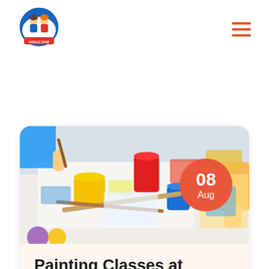Giggle Zone Playzone & More
[Figure (photo): Children painting at a table with colorful paint pots, brushes and art supplies. A red/orange date badge showing 08 Aug overlays the top-right of the photo.]
Painting Classes at Our Center!